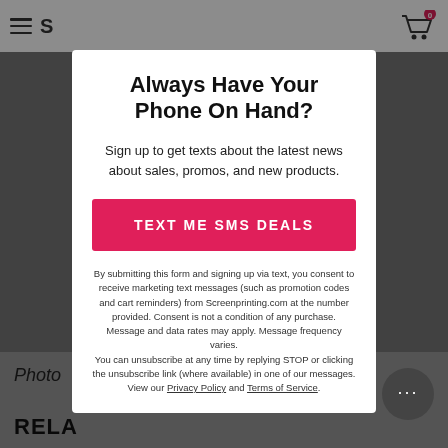S [hamburger menu] [cart icon with 0]
[Figure (photo): Background product photos (dinnerware/kitchenware and decorative items) dimmed behind modal overlay]
Always Have Your Phone On Hand?
Sign up to get texts about the latest news about sales, promos, and new products.
TEXT ME SMS DEALS
By submitting this form and signing up via text, you consent to receive marketing text messages (such as promotion codes and cart reminders) from Screenprinting.com at the number provided. Consent is not a condition of any purchase. Message and data rates may apply. Message frequency varies. You can unsubscribe at any time by replying STOP or clicking the unsubscribe link (where available) in one of our messages. View our Privacy Policy and Terms of Service.
Photo
RELA